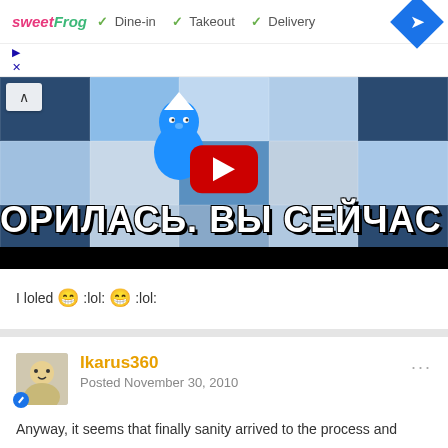[Figure (screenshot): Advertisement banner for sweetFrog with Dine-in, Takeout, Delivery options and navigation diamond icon]
[Figure (screenshot): YouTube video thumbnail showing Smurfs character with Cyrillic text overlay: ОРИЛАСЬ. ВЫ СЕЙЧАС ХО]
I loled :lol: :lol:
Ikarus360
Posted November 30, 2010
Anyway, it seems that finally sanity arrived to the process and